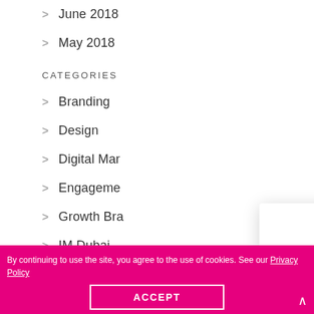June 2018
May 2018
CATEGORIES
Branding
Design
Digital Mar...
Engageme...
Growth Bra...
IM Dubai
[Figure (logo): IM London pink circle logo with white italic 'im' text]
Need regular marketing support but only a few days a month? We can help.
Just email us and tell us what you need: hello@imlondon.co.uk or hello@imdubai.ae
By continuing to use the site, you agree to the use of cookies. See our Privacy Policy
ACCEPT